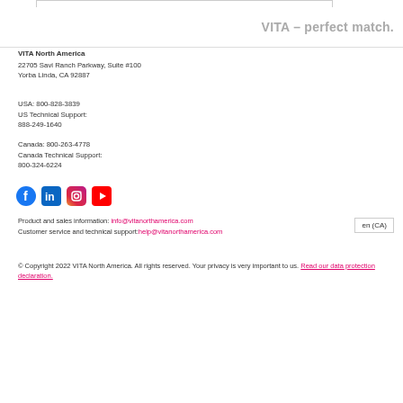VITA – perfect match.
VITA North America
22705 Savi Ranch Parkway, Suite #100
Yorba Linda, CA 92887
USA: 800-828-3839
US Technical Support:
888-249-1640
Canada: 800-263-4778
Canada Technical Support:
800-324-6224
[Figure (other): Social media icons: Facebook, LinkedIn, Instagram, YouTube]
Product and sales information: info@vitanorthamerica.com
Customer service and technical support:help@vitanorthamerica.com
en (CA)
© Copyright 2022 VITA North America. All rights reserved. Your privacy is very important to us. Read our data protection declaration.